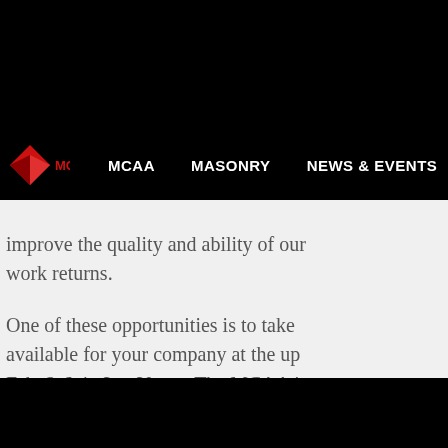[Figure (logo): MCAA logo with red diamond/cube shape and red MCAA text]
MCAA   MASONRY   NEWS & EVENTS   TECHNICAL   ADVO...
improve the quality and ability of our work returns.
One of these opportunities is to take available for your company at the up Feb. 2-6, in Las Vegas. The MCAA i